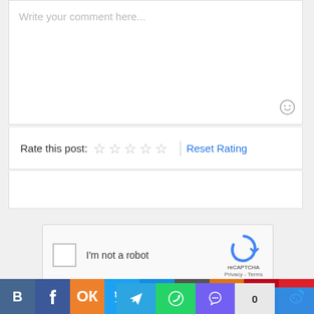[Figure (screenshot): Comment text area with placeholder text 'Write your comment here...' and a smiley face icon in the bottom right corner]
Rate this post: ☆ ☆ ☆ ☆ ☆ | Reset Rating
[Figure (screenshot): Empty submit/form box area]
[Figure (screenshot): reCAPTCHA widget with checkbox and 'I'm not a robot' text]
[Figure (screenshot): Social media sharing buttons bar including VK, Facebook, Odnoklassniki, Twitter, Mail, edit/pencil, Blogger, Pinterest, Weibo icons in top row and Telegram, WhatsApp, Viber, count '0' in bottom row]